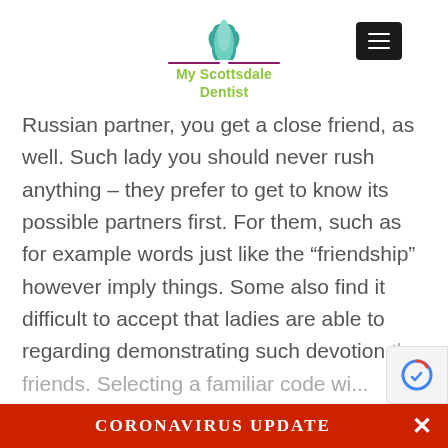[Figure (logo): My Scottsdale Dentist logo with green lotus flower icon, purple horizontal lines, and green text reading 'My Scottsdale Dentist']
Russian partner, you get a close friend, as well. Such lady you should never rush anything – they prefer to get to know its possible partners first. For them, such as for example words just like the “friendship” however imply things. Some also find it difficult to accept that ladies are able to regarding demonstrating such devotion the friends. Selecting a familiar code wi...